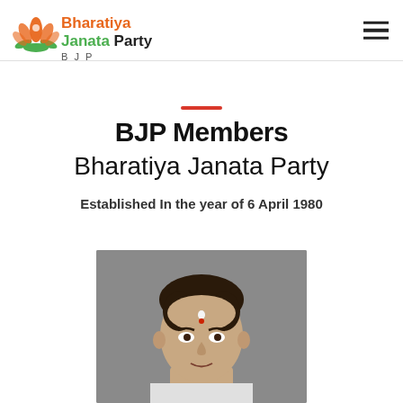Bharatiya Janata Party
BJP Members
Bharatiya Janata Party
Established In the year of 6 April 1980
[Figure (photo): Portrait photo of a BJP member, man with dark hair and a tilak on forehead, against grey background]